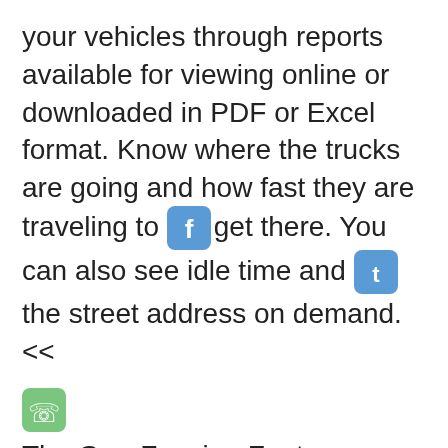your vehicles through reports available for viewing online or downloaded in PDF or Excel format. Know where the trucks are going and how fast they are traveling to get there. You can also see idle time and the street address on demand.<<
The Geo-Fencing Feature allows you to set a certain geographical area for one or more of your vehicles. Receive alerts via the Web or text message if a vehicle travels outside of the allowed area. This allows you to keep you fleet on schedule no matter how far away they are.
The...